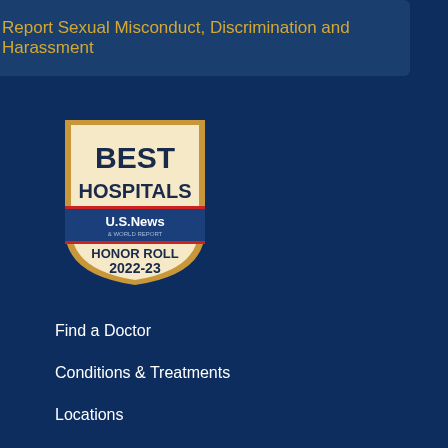Report Sexual Misconduct, Discrimination and Harassment
[Figure (logo): US News & World Report Best Hospitals Honor Roll 2022-23 badge/shield logo]
Find a Doctor
Conditions & Treatments
Locations
Patient & Visitor Guide
Support Services